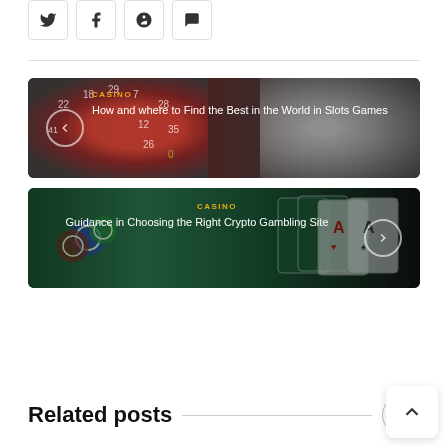[Figure (other): Social share buttons row: Twitter, Facebook, Pinterest, and chat/comment icon buttons with rounded square borders]
[Figure (other): Casino navigation card with roulette wheel and dice background image. Category label: CASINO. Title: How and where to Find the Best in the World in Slots Games. Back arrow button on left.]
[Figure (other): Casino navigation card with poker chips and playing cards on green felt background. Category label: CASINO. Title: Guidance in Choosing the Right Crypto Gambling Site. Forward arrow button on right.]
Related posts